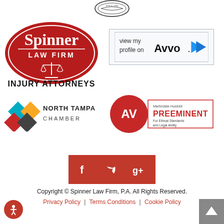[Figure (logo): Spinner seal/stamp circular logo at top center]
[Figure (logo): Spinner Law Firm red oval logo with scales of justice and text INJURY ATTORNEYS]
[Figure (logo): Avvo 'view my profile on Avvo' badge with blue arrow]
[Figure (logo): North Tampa Chamber logo with colorful diamond shapes]
[Figure (logo): Martindale-Hubbell AV Preeminent rating badge - For Ethical Standards and Legal Ability]
[Figure (logo): Social media icons: Facebook, Twitter, Google+ in red squares]
Copyright © Spinner Law Firm, P.A. All Rights Reserved.
Privacy Policy | Terms Conditions | Cookie Policy